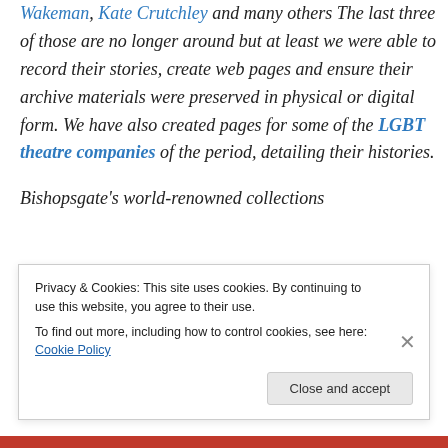Wakeman, Kate Crutchley and many others The last three of those are no longer around but at least we were able to record their stories, create web pages and ensure their archive materials were preserved in physical or digital form. We have also created pages for some of the LGBT theatre companies of the period, detailing their histories.

Bishopsgate's world-renowned collections focus on London history, labour and
Privacy & Cookies: This site uses cookies. By continuing to use this website, you agree to their use.
To find out more, including how to control cookies, see here: Cookie Policy